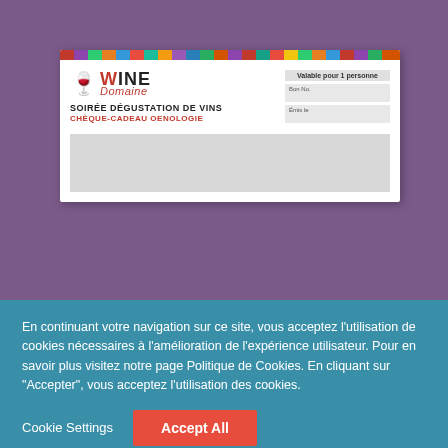[Figure (screenshot): Wine Domaine gift card for 'Soirée Dégustation de Vins' - Chèque-Cadeau Oenologie, valid for 1 person, with fields for box number and expiry date, displayed against a purple background]
En continuant votre navigation sur ce site, vous acceptez l'utilisation de cookies nécessaires à l'amélioration de l'expérience utilisateur. Pour en savoir plus visitez notre page Politique de Cookies. En cliquant sur "Accepter", vous acceptez l'utilisation des cookies.
Cookie Settings
Accept All